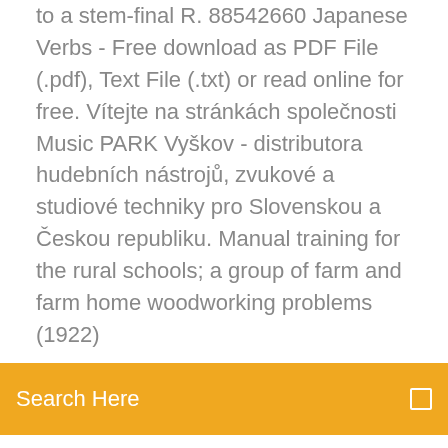to a stem-final R. 88542660 Japanese Verbs - Free download as PDF File (.pdf), Text File (.txt) or read online for free. Vítejte na stránkách společnosti Music PARK Vyškov - distributora hudebních nástrojů, zvukové a studiové techniky pro Slovenskou a Českou republiku. Manual training for the rural schools; a group of farm and farm home woodworking problems (1922)
Search Here
Wass injera mitad manual
Hp 640 g3 manual
Toastmaster tbr15 parts manual
Asus maximus iv manual
Eq2 leveling guide 95-100
Whirlpool wmh32519hz manual
Rinnai rl94e manual
Lg shipping bolts manual
Merkury wireless headphones manual
How to attach camera strap canon